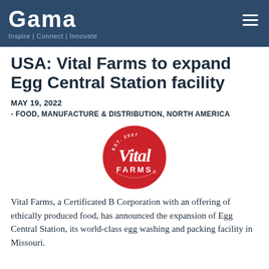Gama | Inspire | Connect | Innovate
USA: Vital Farms to expand Egg Central Station facility
MAY 19, 2022
- FOOD, MANUFACTURE & DISTRIBUTION, NORTH AMERICA
[Figure (logo): Vital Farms circular logo — red circle with white script text 'Vital FARMS' and 'EST. 2007' at top]
Vital Farms, a Certificated B Corporation with an offering of ethically produced food, has announced the expansion of Egg Central Station, its world-class egg washing and packing facility in Missouri.